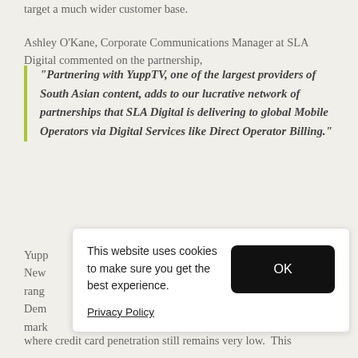target a much wider customer base.
Ashley O'Kane, Corporate Communications Manager at SLA Digital commented on the partnership,
“Partnering with YuppTV, one of the largest providers of South Asian content, adds to our lucrative network of partnerships that SLA Digital is delivering to global Mobile Operators via Digital Services like Direct Operator Billing.”
Yupp[...] New[...] rang[...] Dem[...] mark[...] where credit card penetration still remains very low. This
This website uses cookies to make sure you get the best experience.
Privacy Policy